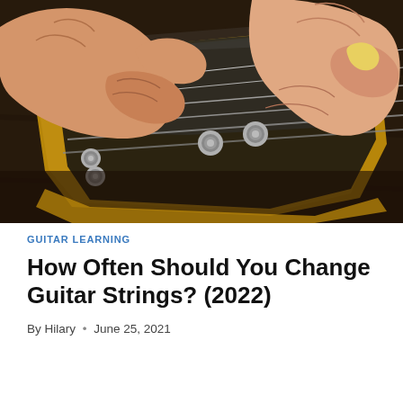[Figure (photo): Close-up photo of two hands changing guitar strings on the headstock of an electric guitar with gold trim and chrome tuning pegs on a dark wooden surface.]
GUITAR LEARNING
How Often Should You Change Guitar Strings? (2022)
By Hilary • June 25, 2021